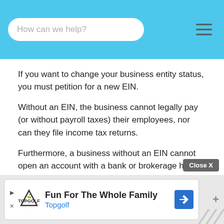How can we help?
If you want to change your business entity status, you must petition for a new EIN.
Without an EIN, the business cannot legally pay (or without payroll taxes) their employees, nor can they file income tax returns.
Furthermore, a business without an EIN cannot open an account with a bank or brokerage house.
Note: Obtaining a business EIN is also important for Establishing Business Credit.
[Figure (infographic): Advertisement banner for Topgolf with text 'Fun For The Whole Family' and 'Topgolf', featuring Topgolf logo and a navigation arrow icon. Has a Close X button, play button, and plus icon.]